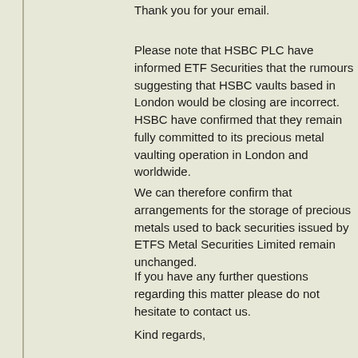Thank you for your email.
Please note that HSBC PLC have informed ETF Securities that the rumours suggesting that HSBC vaults based in London would be closing are incorrect. HSBC have confirmed that they remain fully committed to its precious metal vaulting operation in London and worldwide.
We can therefore confirm that arrangements for the storage of precious metals used to back securities issued by ETFS Metal Securities Limited remain unchanged.
If you have any further questions regarding this matter please do not hesitate to contact us.
Kind regards,
ETFS Client Support
March 10, 2015 at 2:09 PM
Motley Fool said...
Rob